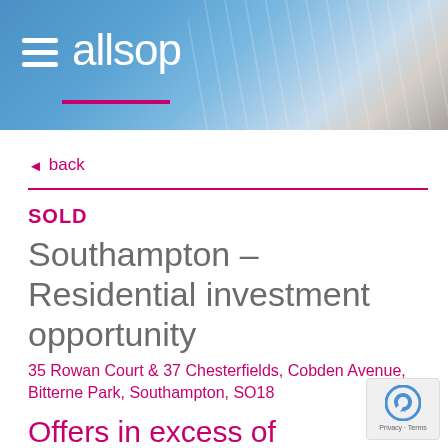[Figure (photo): Allsop company logo and navigation header banner with architectural building background in blue tones]
◄ back
SOLD
Southampton – Residential investment opportunity
35 Rowan Court & 37 Chesterfields, Cobden Avenue, Bitterne Park, Southampton, SO18
Offers in excess of